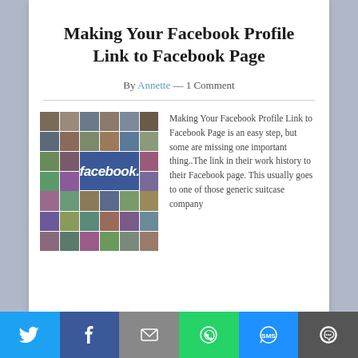Making Your Facebook Profile Link to Facebook Page
By Annette — 1 Comment
[Figure (photo): Facebook collage image showing a grid of profile photos with the Facebook logo in the center]
Making Your Facebook Profile Link to Facebook Page is an easy step, but some are missing one important thing..The link in their work history to their Facebook page. This usually goes to one of those generic suitcase company